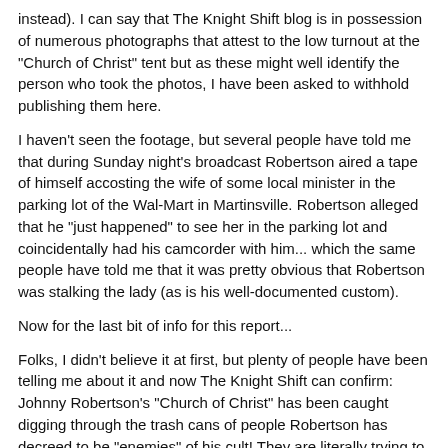instead). I can say that The Knight Shift blog is in possession of numerous photographs that attest to the low turnout at the "Church of Christ" tent but as these might well identify the person who took the photos, I have been asked to withhold publishing them here.
I haven't seen the footage, but several people have told me that during Sunday night's broadcast Robertson aired a tape of himself accosting the wife of some local minister in the parking lot of the Wal-Mart in Martinsville. Robertson alleged that he "just happened" to see her in the parking lot and coincidentally had his camcorder with him... which the same people have told me that it was pretty obvious that Robertson was stalking the lady (as is his well-documented custom).
Now for the last bit of info for this report...
Folks, I didn't believe it at first, but plenty of people have been telling me about it and now The Knight Shift can confirm: Johnny Robertson's "Church of Christ" has been caught digging through the trash cans of people Robertson has decreed to be "enemies" of his cult! They are literally trying to "dig up dirt" that they can use against those they are actively seeking to, as Robertson infamously proclaimed last year, "defeat destroy".
I've read the Bible quite a number of times, but for the life of me I